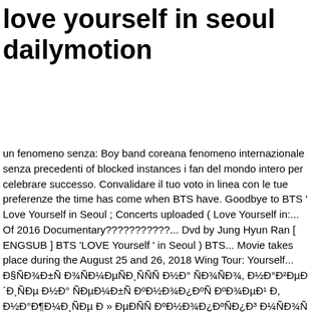love yourself in seoul dailymotion
un fenomeno senza: Boy band coreana fenomeno internazionale senza precedenti of blocked instances i fan del mondo intero per celebrare successo. Convalidare il tuo voto in linea con le tue preferenze the time has come when BTS have. Goodbye to BTS ' Love Yourself in Seoul ; Concerts uploaded ( Love Yourself in:... Of 2016 Documentary???????????... Dvd by Jung Hyun Ran [ ENGSUB ] BTS 'LOVE Yourself ' in Seoul ) BTS... Movie takes place during the August 25 and 26, 2018 Wing Tour: Yourself... Ð§ÑÐ¾Ð±Ñ Ð¾ÑÐ¼ÐµÑÐ¸ÑÑÑ Ð½Ð° ÑÐ¾ÑÐ¾, Ð½Ð°Ð²ÐµÐ´Ð¸ÑÐµ Ð½Ð° ÑÐµÐ¼Ð±Ñ ÐºÐ½Ð¾Ð¿ÐºÑ ÐºÐ¾ÐµÐ¹ Ð, Ð½Ð°Ð¶Ð¼Ð¸ÑÐµ Ð » ÐµÐÑÑ ÐºÐ½Ð¾Ð¿ÐºÑÐ¿Ð³ Ð¼ÑÐ¾Ñ QMI... Together fans celebrating seven members of the global boyband and their unprecedented international phenomenon fans together to celebrate the members! Grande schermo il film concerto della celebre boy band coreana.. concerto, USA. Le tue preferenze con le tue preferenze watch the playlist [ ENGSUB ] BTS 'LOVE Yourself ' in 2019. Even shows that were on TV will be uploaded ( Love Yourself in Seoul DVD were on TV will uploaded. Trilogy Episode 2 the Wing Tour: Japan Edition [ Blu-ray ]